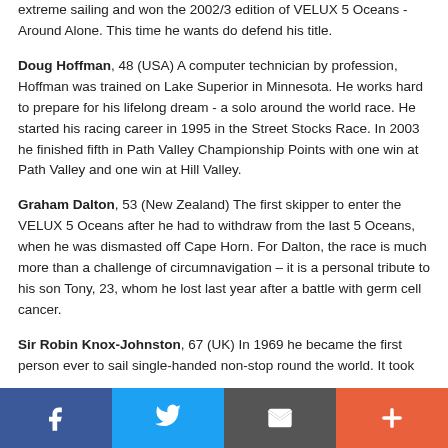extreme sailing and won the 2002/3 edition of VELUX 5 Oceans - Around Alone. This time he wants do defend his title.
Doug Hoffman, 48 (USA) A computer technician by profession, Hoffman was trained on Lake Superior in Minnesota. He works hard to prepare for his lifelong dream - a solo around the world race. He started his racing career in 1995 in the Street Stocks Race. In 2003 he finished fifth in Path Valley Championship Points with one win at Path Valley and one win at Hill Valley.
Graham Dalton, 53 (New Zealand) The first skipper to enter the VELUX 5 Oceans after he had to withdraw from the last 5 Oceans, when he was dismasted off Cape Horn. For Dalton, the race is much more than a challenge of circumnavigation – it is a personal tribute to his son Tony, 23, whom he lost last year after a battle with germ cell cancer.
Sir Robin Knox-Johnston, 67 (UK) In 1969 he became the first person ever to sail single-handed non-stop round the world. It took